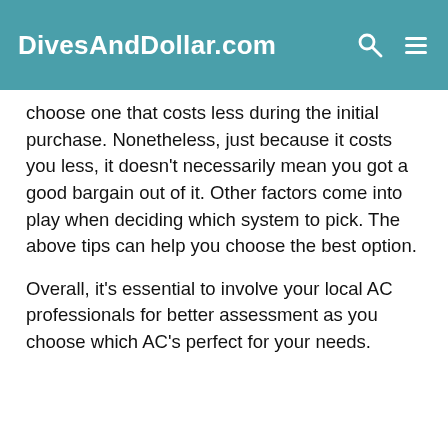DivesAndDollar.com
choose one that costs less during the initial purchase. Nonetheless, just because it costs you less, it doesn't necessarily mean you got a good bargain out of it. Other factors come into play when deciding which system to pick. The above tips can help you choose the best option.
Overall, it's essential to involve your local AC professionals for better assessment as you choose which AC's perfect for your needs.